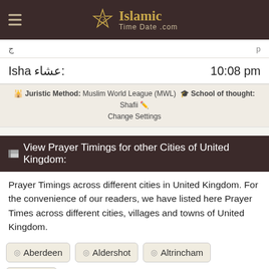Islamic Time Date .com
(partial Arabic text)
Isha عشاء: 10:08 pm
Juristic Method: Muslim World League (MWL)  School of thought: Shafii  Change Settings
View Prayer Timings for other Cities of United Kingdom:
Prayer Timings across different cities in United Kingdom. For the convenience of our readers, we have listed here Prayer Times across different cities, villages and towns of United Kingdom.
Aberdeen
Aldershot
Altrincham
Antrim
Armagh
Ashford
Atherton
Aylesbury
Ballycastle
Ballyclare
Ballymena